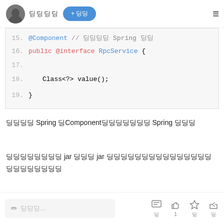딩딩딩 + 딩딩
[Figure (screenshot): Code snippet showing Java annotation interface lines 15-19: @Component // 딩딩딩딩 Spring 딩딩, public @interface RpcService {, Class<?> value();, }]
딩딩딩딩 Spring 딩Component딩딩딩딩딩딩딩 Spring 딩딩딩
딩딩딩딩딩딩딩딩 jar 딩딩딩 jar 딩딩딩딩딩딩딩딩딩딩딩딩딩딩딩딩딩딩딩딩딩딩딩
딩딩... 딩 1 딩 딩